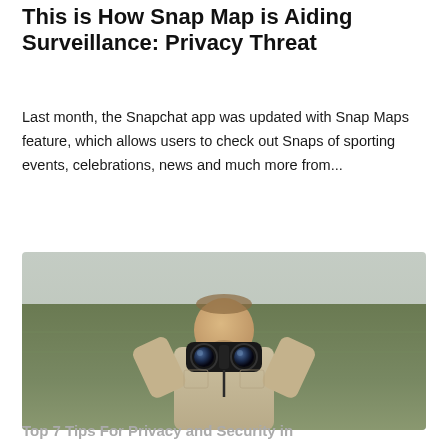This is How Snap Map is Aiding Surveillance: Privacy Threat
Last month, the Snapchat app was updated with Snap Maps feature, which allows users to check out Snaps of sporting events, celebrations, news and much more from...
[Figure (photo): A man standing in an open field looking through binoculars, with a grey overcast sky in the background]
Top 7 Tips For Privacy and Security in